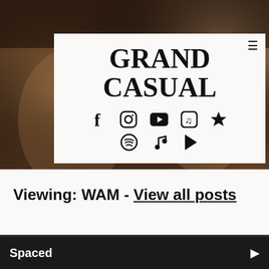[Figure (photo): Background photo of two people/band members, blurred, warm tones]
GRAND CASUAL
[Figure (infographic): Row of social media icons: Facebook, Instagram, YouTube, music note app, star/Bandcamp, Spotify, music note, Google Play]
Viewing: WAM - View all posts
Spaced ▶